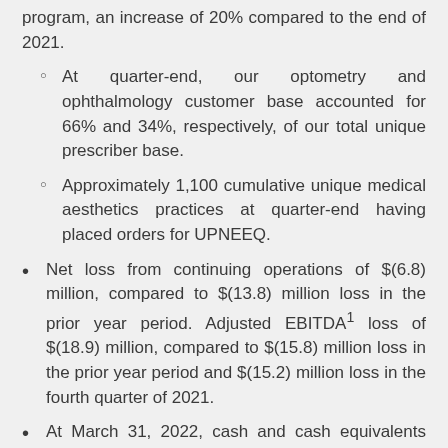program, an increase of 20% compared to the end of 2021.
At quarter-end, our optometry and ophthalmology customer base accounted for 66% and 34%, respectively, of our total unique prescriber base.
Approximately 1,100 cumulative unique medical aesthetics practices at quarter-end having placed orders for UPNEEQ.
Net loss from continuing operations of $(6.8) million, compared to $(13.8) million loss in the prior year period. Adjusted EBITDA¹ loss of $(18.9) million, compared to $(15.8) million loss in the prior year period and $(15.2) million loss in the fourth quarter of 2021.
At March 31, 2022, cash and cash equivalents were $26.3 million and debt and financing obligations had aggregate principal amount